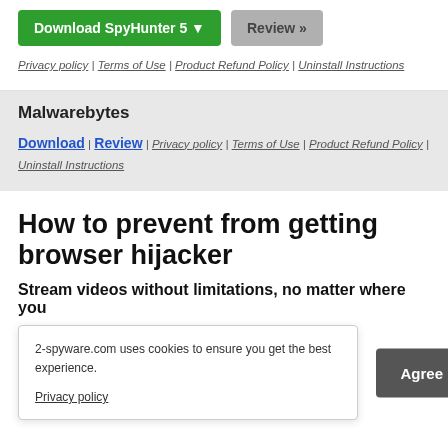Download SpyHunter 5 ▼ | Review »
Privacy policy | Terms of Use | Product Refund Policy | Uninstall Instructions
Malwarebytes
Download | Review | Privacy policy | Terms of Use | Product Refund Policy | Uninstall Instructions
How to prevent from getting browser hijacker
Stream videos without limitations, no matter where you
2-spyware.com uses cookies to ensure you get the best experience.
Privacy policy
Agree
t almost activity. While ompanios are